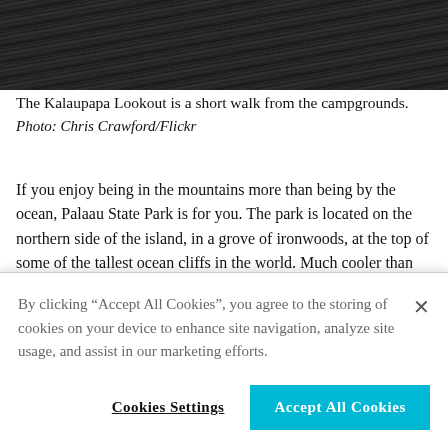[Figure (photo): Dark landscape photo showing dense dark vegetation or ground cover, cropped at top of page]
The Kalaupapa Lookout is a short walk from the campgrounds.
Photo: Chris Crawford/Flickr
If you enjoy being in the mountains more than being by the ocean, Palaau State Park is for you. The park is located on the northern side of the island, in a grove of ironwoods, at the top of some of the tallest ocean cliffs in the world. Much cooler than One Alii Beach Park and Papohaku Beach Park
By clicking “Accept All Cookies”, you agree to the storing of cookies on your device to enhance site navigation, analyze site usage, and assist in our marketing efforts.
Cookies Settings
Accept All Cookies